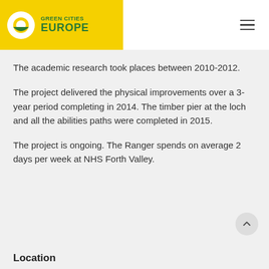[Figure (logo): Green Cities Europe logo on yellow background with hamburger menu icon]
The academic research took places between 2010-2012.
The project delivered the physical improvements over a 3-year period completing in 2014. The timber pier at the loch and all the abilities paths were completed in 2015.
The project is ongoing. The Ranger spends on average 2 days per week at NHS Forth Valley.
Location